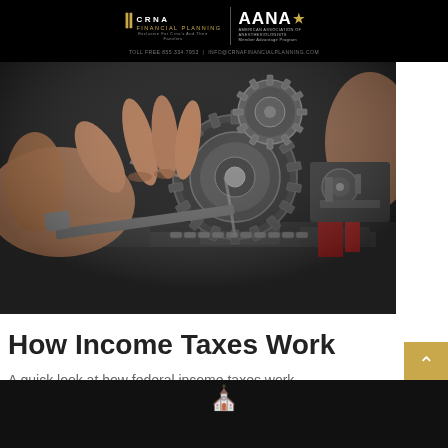CRNA Financial Planning | AANA Member Advantage Program
[Figure (photo): Close-up photograph of hands working on mechanical engine gears and chains, dark industrial setting with metal components]
How Income Taxes Work
A quick look at how federal income taxes work.